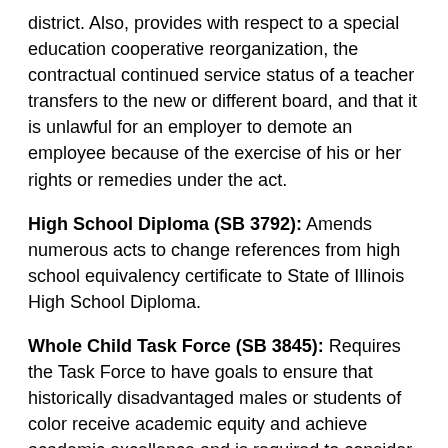district. Also, provides with respect to a special education cooperative reorganization, the contractual continued service status of a teacher transfers to the new or different board, and that it is unlawful for an employer to demote an employee because of the exercise of his or her rights or remedies under the act.
High School Diploma (SB 3792): Amends numerous acts to change references from high school equivalency certificate to State of Illinois High School Diploma.
Whole Child Task Force (SB 3845): Requires the Task Force to have goals to ensure that historically disadvantaged males or students of color receive academic equity and achieve academic excellence and is required to consider whether to require every school district to have in their strategic plans a focus on historically disadvantaged males of color. Requires the Task Force to consider whether to establish an office within Illinois State Board of Education